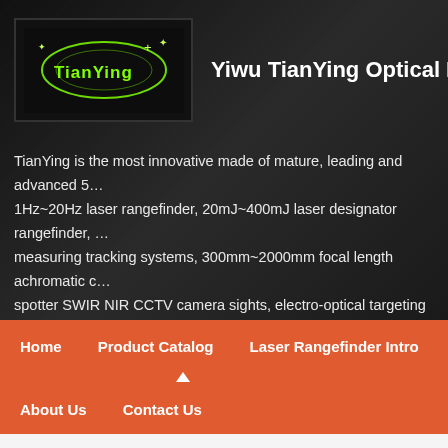[Figure (logo): TianYing logo — black background with green glowing ellipse/orbit ring and star/cross marks, text 'TianYing' in green]
Yiwu TianYing Optical Instrum
TianYing is the most innovative made of mature, leading and advanced 5… 1Hz~20Hz laser rangefinder, 20mJ~400mJ laser designator rangefinder, … measuring tracking systems, 300mm~2000mm focal length achromatic c… spotter SWIR NIR CCTV camera sights, electro-optical targeting system… thermal cameras etc.
Home | Product Catalog | Laser Rangefinder Intro | SWIR | About Us | Contact Us
Laser Rangefinder
Laser Designator Rangefinder
Product Catalog > Mea…g
[Figure (screenshot): Search bar with orange/grey button]